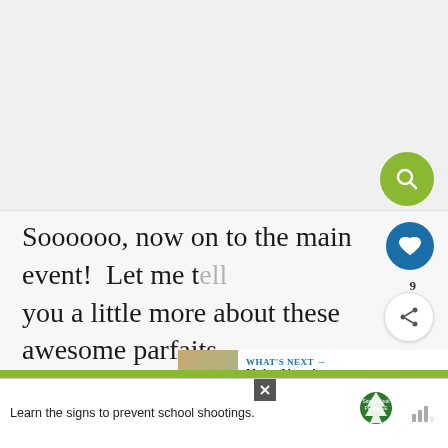[Figure (photo): Light gray/white background image area at top of page]
Soooooo, now on to the main event!  Let me tell you a little more about these awesome parfaits  made 5 different luscious recipes!
[Figure (screenshot): WHAT'S NEXT arrow banner showing 'Make Ahead Mason Jar...' with thumbnail]
[Figure (photo): Food photo strip showing dark berries/blueberries with cream]
[Figure (screenshot): Advertisement banner: 'Learn the signs to prevent school shootings.' with Sandy Hook Promise logo and close/mute buttons]